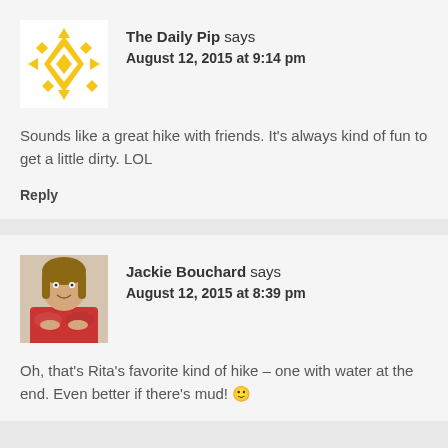[Figure (illustration): Yellow geometric/floral pattern avatar icon for The Daily Pip]
The Daily Pip says
August 12, 2015 at 9:14 pm
Sounds like a great hike with friends. It's always kind of fun to get a little dirty. LOL
Reply
[Figure (photo): Photo of Jackie Bouchard, a woman with shoulder-length hair wearing a red top]
Jackie Bouchard says
August 12, 2015 at 8:39 pm
Oh, that's Rita's favorite kind of hike – one with water at the end. Even better if there's mud! 🙂